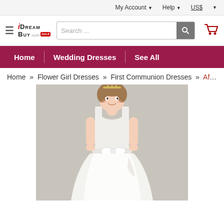My Account ▾   Help ▾   US$ ▾
[Figure (logo): iDreamBuy.com logo with hamburger menu icon]
[Figure (screenshot): Search bar with placeholder text 'Search ...' and search button]
[Figure (illustration): Shopping cart icon (red)]
Home   Wedding Dresses   See All
Home » Flower Girl Dresses » First Communion Dresses » Aff...
[Figure (photo): Young girl wearing a white sleeveless flower girl / first communion dress with a satin bodice, tulle skirt, and white bow sash with lace detail. She wears a tiara and smiles at the camera. Background is light gray.]